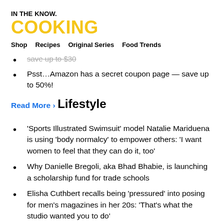IN THE KNOW.
COOKING
Shop  Recipes  Original Series  Food Trends
save up to $30
Psst…Amazon has a secret coupon page — save up to 50%!
Read More ›
Lifestyle
'Sports Illustrated Swimsuit' model Natalie Mariduena is using 'body normalcy' to empower others: 'I want women to feel that they can do it, too'
Why Danielle Bregoli, aka Bhad Bhabie, is launching a scholarship fund for trade schools
Elisha Cuthbert recalls being 'pressured' into posing for men's magazines in her 20s: 'That's what the studio wanted you to do'